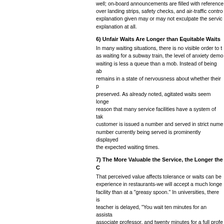well; on-board announcements are filled with references over landing strips, safety checks, and air-traffic control. explanation given may or may not exculpate the service explanation at all.
6) Unfair Waits Are Longer than Equitable Waits
In many waiting situations, there is no visible order to the as waiting for a subway train, the level of anxiety demo waiting is less a queue than a mob. Instead of being able remains in a state of nervousness about whether their place preserved. As already noted, agitated waits seem longer. reason that many service facilities have a system of taking customer is issued a number and served in strict numerical number currently being served is prominently displayed the expected waiting times.
7) The More Valuable the Service, the Longer the Customer Will Wait
That perceived value affects tolerance or waits can be experience in restaurants-we will accept a much longer facility than at a "greasy spoon." In universities, there is a teacher is delayed, "You wait ten minutes for an assistant associate professor, and twenty minutes for a full professor." principle that tolerance for waits depends upon perceived the emphasis on the perception.
8) Solo Waits Feel Longer than Group Waits
One of the remarkable syndromes to observe in waiting or standing next to each other without talking or other announcement of a delay is made. Then the individuals express their exasperation, wonder collectively what is other. What this illustrates is that there is some form of than waiting alone.
****